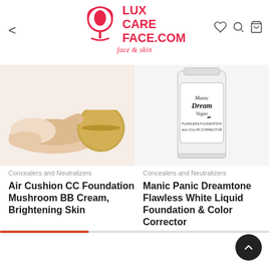LUX CARE FACE.COM — face & skin
[Figure (photo): Air Cushion CC Foundation product photo showing liquid foundation pooled next to a gold-lidded compact container, on white background]
Concealers and Neutralizers
Air Cushion CC Foundation Mushroom BB Cream, Brightening Skin
[Figure (photo): Manic Panic Dreamtone Flawless White Liquid Foundation & Color Corrector bottle with black and white label]
Concealers and Neutralizers
Manic Panic Dreamtone Flawless White Liquid Foundation & Color Corrector